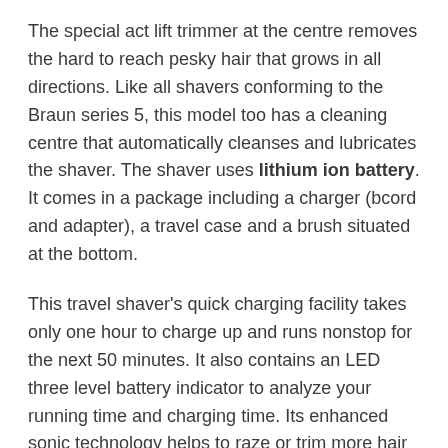The special act lift trimmer at the centre removes the hard to reach pesky hair that grows in all directions. Like all shavers conforming to the Braun series 5, this model too has a cleaning centre that automatically cleanses and lubricates the shaver. The shaver uses lithium ion battery. It comes in a package including a charger (bcord and adapter), a travel case and a brush situated at the bottom.
This travel shaver's quick charging facility takes only one hour to charge up and runs nonstop for the next 50 minutes. It also contains an LED three level battery indicator to analyze your running time and charging time. Its enhanced sonic technology helps to raze or trim more hair in a quick shave. The contour flex head adapts to undulated contours of the face and neck and provides maximum skin contact. The shaver's high quality built in